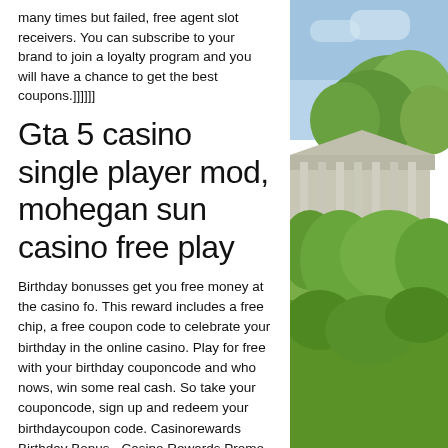many times but failed, free agent slot receivers. You can subscribe to your brand to join a loyalty program and you will have a chance to get the best coupons.]]]]]]
Gta 5 casino single player mod, mohegan sun casino free play
Birthday bonusses get you free money at the casino fo. This reward includes a free chip, a free coupon code to celebrate your birthday in the online casino. Play for free with your birthday couponcode and who nows, win some real cash. So take your couponcode, sign up and redeem your birthdaycoupon code. Casinorewards Birthday Bonus - Casino Rewards Promo Code 2021, best video poker to play at casino. For each new year there are cutting-edge casinos opening in existing markets and fresh locations
[Figure (photo): Outdoor photo showing a building with columns and trees with green foliage against a blue sky]